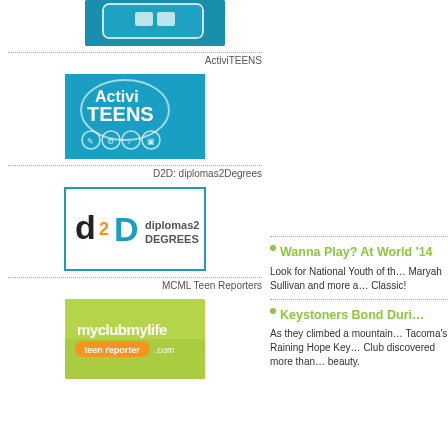[Figure (logo): Partial cropped blue image at top left]
ActiviTEENS
[Figure (logo): ActiviTEENS logo — white text on blue background with activity icons]
D2D: diplomas2Degrees
[Figure (logo): diplomas2Degrees logo — d2D with text, blue border box]
MCML Teen Reporters
[Figure (logo): myclubmylife teen reporter logo on green background]
Wanna Play? At World '14
Look for National Youth of th… Maryah Sullivan and more a… Classic!
Keystoners Bond Duri…
As they climbed a mountain… Tacoma's Raining Hope Key… Club discovered more than… beauty.